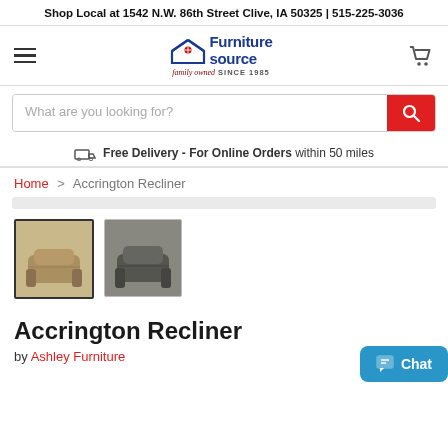Shop Local at 1542 N.W. 86th Street Clive, IA 50325 | 515-225-3036
[Figure (logo): Furniture Source logo with 'family owned SINCE 1985' tagline and shopping cart icon]
What are you looking for?
Free Delivery - For Online Orders within 50 miles
Home > Accrington Recliner
[Figure (photo): Two product thumbnail images of the Accrington Recliner — one tan/beige version and one dark grey version]
Accrington Recliner
by Ashley Furniture